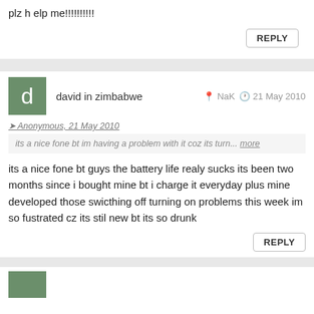plz h elp me!!!!!!!!!!
REPLY
david in zimbabwe
NaK   21 May 2010
Anonymous, 21 May 2010
its a nice fone bt im having a problem with it coz its turn... more
its a nice fone bt guys the battery life realy sucks its been two months since i bought mine bt i charge it everyday plus mine developed those swicthing off turning on problems this week im so fustrated cz its stil new bt its so drunk
REPLY